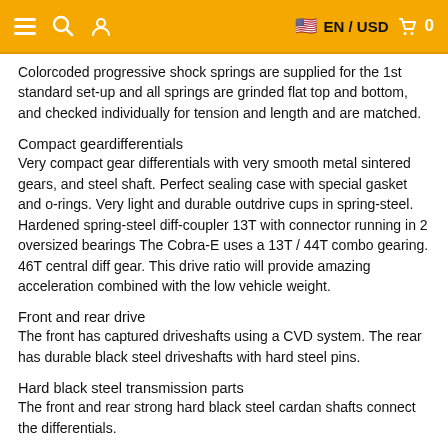≡  🔍  👤   🇺🇸 EN / USD  🛍  0
Colorcoded progressive shock springs are supplied for the 1st standard set-up and all springs are grinded flat top and bottom, and checked individually for tension and length and are matched.
Compact geardifferentials
Very compact gear differentials with very smooth metal sintered gears, and steel shaft. Perfect sealing case with special gasket and o-rings. Very light and durable outdrive cups in spring-steel. Hardened spring-steel diff-coupler 13T with connector running in 2 oversized bearings The Cobra-E uses a 13T / 44T combo gearing. 46T central diff gear. This drive ratio will provide amazing acceleration combined with the low vehicle weight.
Front and rear drive
The front has captured driveshafts using a CVD system. The rear has durable black steel driveshafts with hard steel pins.
Hard black steel transmission parts
The front and rear strong hard black steel cardan shafts connect the differentials.